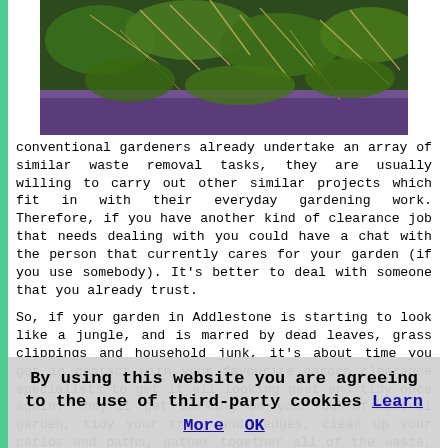[Figure (photo): Photo of garden waste including green leafy weeds and dry grass/plant debris in a purple/blue container or tray, viewed from above.]
conventional gardeners already undertake an array of similar waste removal tasks, they are usually willing to carry out other similar projects which fit in with their everyday gardening work. Therefore, if you have another kind of clearance job that needs dealing with you could have a chat with the person that currently cares for your garden (if you use somebody). It's better to deal with someone that you already trust.

So, if your garden in Addlestone is starting to look like a jungle, and is marred by dead leaves, grass clippings and household junk, it's about time you got in contact with your favourite garden clearance specialists to get it all looking neat and tidy once again. They'll get working on your out-of-control garden, tidy your trees and hedges, clean up your patios and paths, gather together all of the waste, bag all of it up and get it looking great once again.

If you have done your groundwork and singled out a licenced
By using this website you are agreeing to the use of third-party cookies Learn More  OK